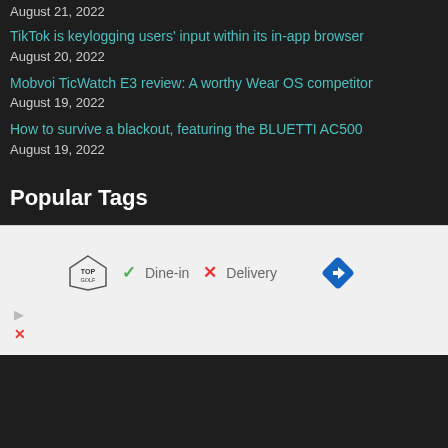August 21, 2022
TikTok is keylogging users' input within its in-app browser
August 20, 2022
Mobvoi TicWatch E3 review: A worthy Wear OS competitor
August 19, 2022
How to survive a blackout, featuring the BLUETTI AC500
August 19, 2022
Popular Tags
[Figure (other): Advertisement banner for Topgolf showing Dine-in (checkmark) and Delivery (X) options with a navigation arrow icon, plus play and close icons at the bottom left.]